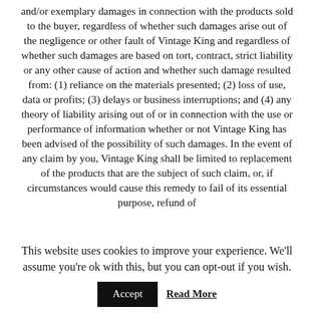and/or exemplary damages in connection with the products sold to the buyer, regardless of whether such damages arise out of the negligence or other fault of Vintage King and regardless of whether such damages are based on tort, contract, strict liability or any other cause of action and whether such damage resulted from: (1) reliance on the materials presented; (2) loss of use, data or profits; (3) delays or business interruptions; and (4) any theory of liability arising out of or in connection with the use or performance of information whether or not Vintage King has been advised of the possibility of such damages. In the event of any claim by you, Vintage King shall be limited to replacement of the products that are the subject of such claim, or, if circumstances would cause this remedy to fail of its essential purpose, refund of
This website uses cookies to improve your experience. We'll assume you're ok with this, but you can opt-out if you wish.
Accept  Read More